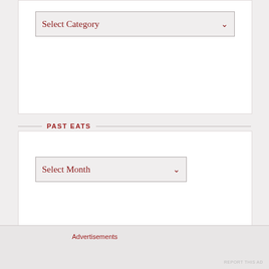[Figure (screenshot): Dropdown select box labeled 'Select Category' with a red chevron arrow, inside a white bordered widget box]
PAST EATS
[Figure (screenshot): Dropdown select box labeled 'Select Month' with a red chevron arrow, inside a white bordered widget box]
BLOGS I FOLLOW
Luis Perrone Chef
Блог красоты и здоровья от LiDea
Flavour Town
Advertisements